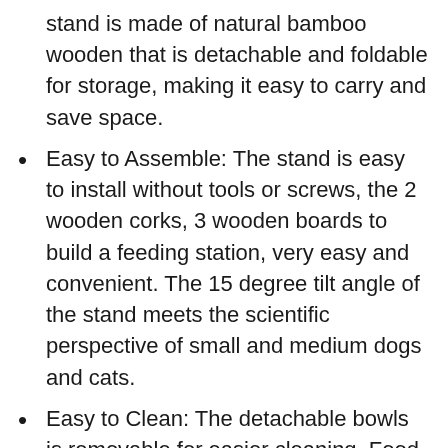stand is made of natural bamboo wooden that is detachable and foldable for storage, making it easy to carry and save space.
Easy to Assemble: The stand is easy to install without tools or screws, the 2 wooden corks, 3 wooden boards to build a feeding station, very easy and convenient. The 15 degree tilt angle of the stand meets the scientific perspective of small and medium dogs and cats.
Easy to Clean: The detachable bowls is removable for easier cleaning. Food grade lead-free ceramic or stainless steel bowls are safe for dishwasher. The bowls set in the bamboo stand can effectively prevent food from spilling and keep the floor clean and tidy.